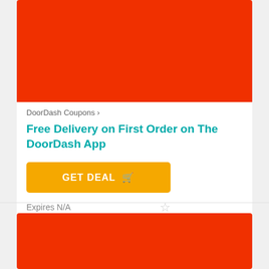[Figure (photo): Red/orange DoorDash branded banner image at top of coupon card]
DoorDash Coupons ›
Free Delivery on First Order on The DoorDash App
GET DEAL 🛒
Expires N/A
[Figure (photo): Red/orange DoorDash branded banner image at bottom of next coupon card]